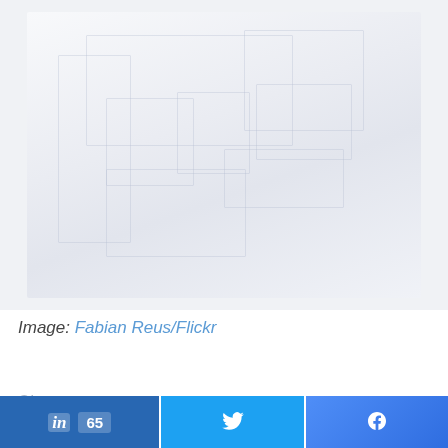[Figure (photo): Very faint/washed-out photograph of what appears to be an indoor scene or machinery, rendered in very light grays and whites.]
Image: Fabian Reus/Flickr
Oi t... (partial text, cut off at bottom of page)
[Figure (infographic): Social share bar with three buttons: LinkedIn with count 65, Twitter, and Facebook]